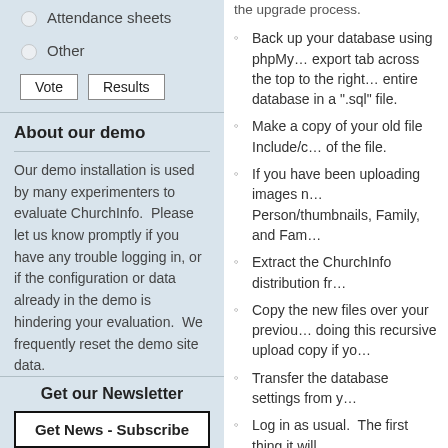Attendance sheets
Other
Vote  Results
About our demo
Our demo installation is used by many experimenters to evaluate ChurchInfo.  Please let us know promptly if you have any trouble logging in, or if the configuration or data already in the demo is hindering your evaluation.  We frequently reset the demo site data.
Get our Newsletter
Get News - Subscribe
Back up your database using phpMy... export tab across the top to the right... entire database in a ".sql" file.
Make a copy of your old file Include/c... of the file.
If you have been uploading images n... Person/thumbnails, Family, and Fam...
Extract the ChurchInfo distribution fr...
Copy the new files over your previou... doing this recursive upload copy if yo...
Transfer the database settings from y...
Log in as usual.  The first thing it will...
If you prefer, you can rename your inst... original installation directory.  If you ins... directory to the same spot in the new in...